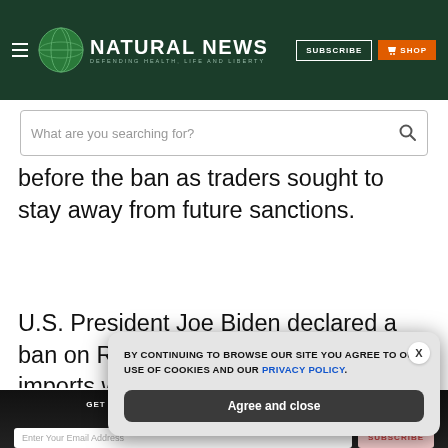NATURAL NEWS — DEFENDING HEALTH, LIFE AND LIBERTY
before the ban as traders sought to stay away from future sanctions.
U.S. President Joe Biden declared a ban on Russian oil and other energy imports while Britain announced that it will take
GET THE WORLD'S BEST NATURAL HEALTH NEWSLETTER DELIVERED STRAIGHT TO YOUR INBOX
BY CONTINUING TO BROWSE OUR SITE YOU AGREE TO OUR USE OF COOKIES AND OUR PRIVACY POLICY.
Agree and close